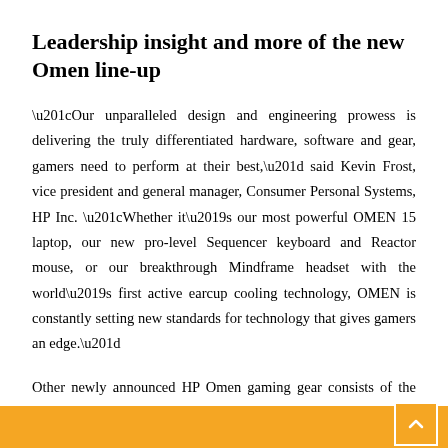Leadership insight and more of the new Omen line-up
“Our unparalleled design and engineering prowess is delivering the truly differentiated hardware, software and gear, gamers need to perform at their best,” said Kevin Frost, vice president and general manager, Consumer Personal Systems, HP Inc. “Whether it’s our most powerful OMEN 15 laptop, our new pro-level Sequencer keyboard and Reactor mouse, or our breakthrough Mindframe headset with the world’s first active earcup cooling technology, OMEN is constantly setting new standards for technology that gives gamers an edge.”
Other newly announced HP Omen gaming gear consists of the Omen 15 Laptop, the Sequencer keyboard, Reactor mouse, Transceptor backpack, Mouse 400, Mouse Pad 200, and the alternative version Hard Mouse Pad 200. All of these, except